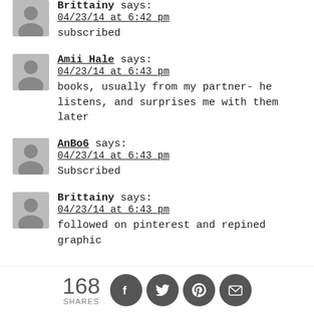Brittainy says: 04/23/14 at 6:42 pm — subscribed
Amii Hale says: 04/23/14 at 6:43 pm — books, usually from my partner- he listens, and surprises me with them later
AnBo6 says: 04/23/14 at 6:43 pm — Subscribed
Brittainy says: 04/23/14 at 6:43 pm — followed on pinterest and repined graphic
168 SHARES